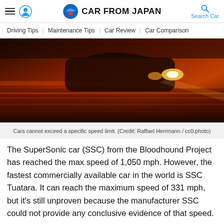CAR FROM JAPAN
Driving Tips  Maintenance Tips  Car Review  Car Comparison
[Figure (photo): A car speeding on a road at night with motion blur and orange/red lighting]
Cars cannot exceed a specific speed limit. (Credit: Raffael Herrmann / cc0.photo)
The SuperSonic car (SSC) from the Bloodhound Project has reached the max speed of 1,050 mph. However, the fastest commercially available car in the world is SSC Tuatara. It can reach the maximum speed of 331 mph, but it's still unproven because the manufacturer SSC could not provide any conclusive evidence of that speed.